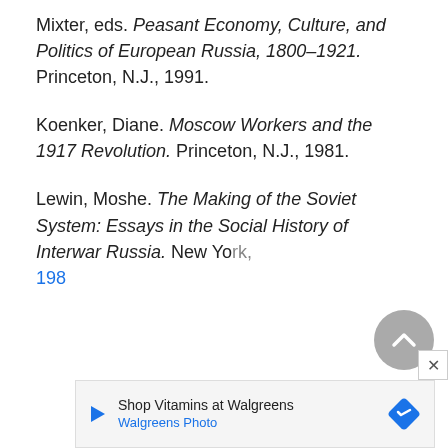Mixter, eds. Peasant Economy, Culture, and Politics of European Russia, 1800–1921. Princeton, N.J., 1991.
Koenker, Diane. Moscow Workers and the 1917 Revolution. Princeton, N.J., 1981.
Lewin, Moshe. The Making of the Soviet System: Essays in the Social History of Interwar Russia. New York, 198[truncated]